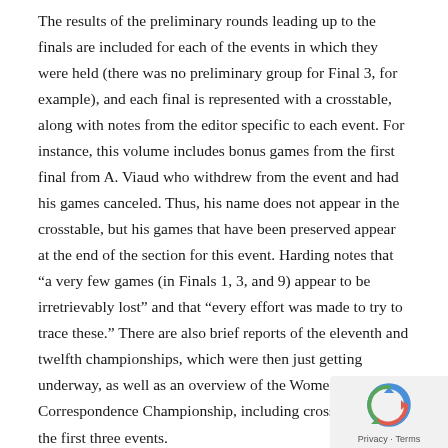The results of the preliminary rounds leading up to the finals are included for each of the events in which they were held (there was no preliminary group for Final 3, for example), and each final is represented with a crosstable, along with notes from the editor specific to each event. For instance, this volume includes bonus games from the first final from A. Viaud who withdrew from the event and had his games canceled. Thus, his name does not appear in the crosstable, but his games that have been preserved appear at the end of the section for this event. Harding notes that “a very few games (in Finals 1, 3, and 9) appear to be irretrievably lost” and that “every effort was made to try to trace these.” There are also brief reports of the eleventh and twelfth championships, which were then just getting underway, as well as an overview of the Women’s World Correspondence Championship, including crosstables for the first three events.